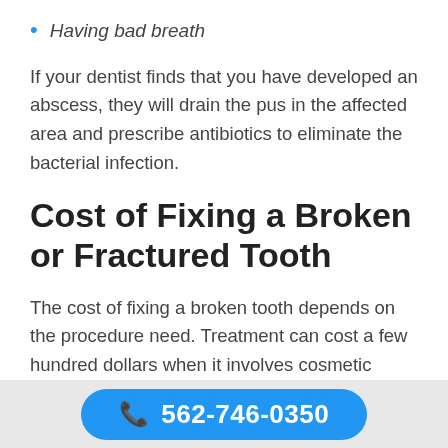Having bad breath
If your dentist finds that you have developed an abscess, they will drain the pus in the affected area and prescribe antibiotics to eliminate the bacterial infection.
Cost of Fixing a Broken or Fractured Tooth
The cost of fixing a broken tooth depends on the procedure need. Treatment can cost a few hundred dollars when it involves cosmetic procedures. On the
562-746-0350